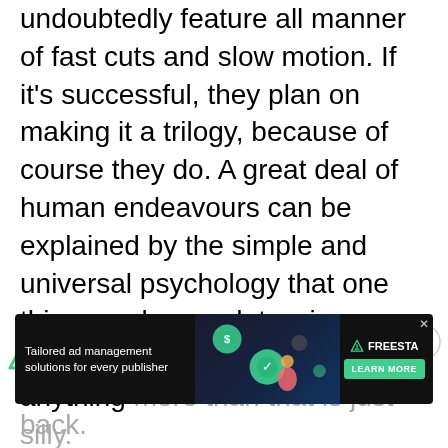undoubtedly feature all manner of fast cuts and slow motion. If it's successful, they plan on making it a trilogy, because of course they do. A great deal of human endeavours can be explained by the simple and universal psychology that one thing can be good, two is subpar, three can be epic, and anything more than that is just silly.
[Figure (logo): Green triangular logo icon on left side]
[Figure (logo): Circle with X close button on right side]
[Figure (infographic): Advertisement banner: Tailored ad management solutions for every publisher - FREESTA with Learn More button]
back.